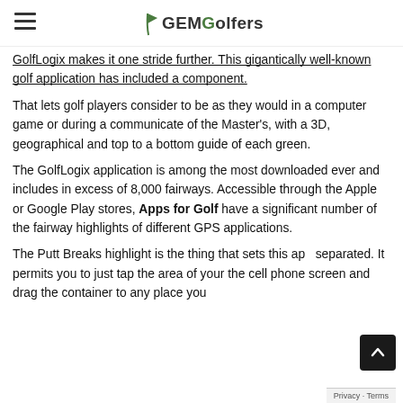GEMGolfers
GolfLogix makes it one stride further. This gigantically well-known golf application has included a component.
That lets golf players consider to be as they would in a computer game or during a communicate of the Master's, with a 3D, geographical and top to a bottom guide of each green.
The GolfLogix application is among the most downloaded ever and includes in excess of 8,000 fairways. Accessible through the Apple or Google Play stores, Apps for Golf have a significant number of the fairway highlights of different GPS applications.
The Putt Breaks highlight is the thing that sets this app separated. It permits you to just tap the area of your the cell phone screen and drag the container to any place you